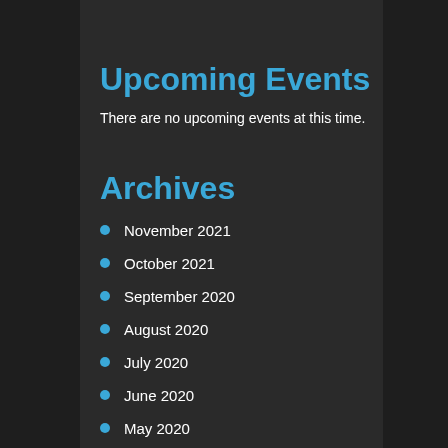Upcoming Events
There are no upcoming events at this time.
Archives
November 2021
October 2021
September 2020
August 2020
July 2020
June 2020
May 2020
April 2020
March 2020